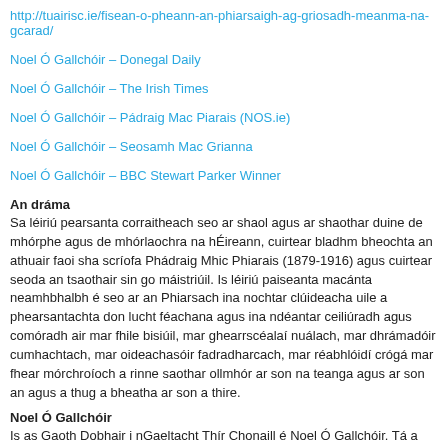http://tuairisc.ie/fisean-o-pheann-an-phiarsaigh-ag-griosadh-meanma-na-gcarad/
Noel Ó Gallchóir – Donegal Daily
Noel Ó Gallchóir – The Irish Times
Noel Ó Gallchóir – Pádraig Mac Piarais (NOS.ie)
Noel Ó Gallchóir – Seosamh Mac Grianna
Noel Ó Gallchóir – BBC Stewart Parker Winner
An dráma
Sa léiriú pearsanta corraitheach seo ar shaol agus ar shaothar duine de mhórphe agus de mhórlaochra na hÉireann, cuirtear bladhm bheochta an athuair faoi sha scríofa Phádraig Mhic Phiarais (1879-1916) agus cuirtear seoda an tsaothair sin go máistriúil. Is léiriú paiseanta macánta neamhbhalbh é seo ar an Phiarsach ina nochtar clúideacha uile a phearsantachta don lucht féachana agus ina ndéantar ceiliúradh agus comóradh air mar fhile bisiúil, mar ghearrscéalaí nuálach, mar dhrámadóir cumhachtach, mar oideachasóir fadradharcach, mar réabhlóidí crógá mar fhear mórchroíoch a rinne saothar ollmhór ar son na teanga agus ar son an agus a thug a bheatha ar son a thire.
Noel Ó Gallchóir
Is as Gaoth Dobhair i nGaeltacht Thír Chonaill é Noel Ó Gallchóir. Tá a shaol cai